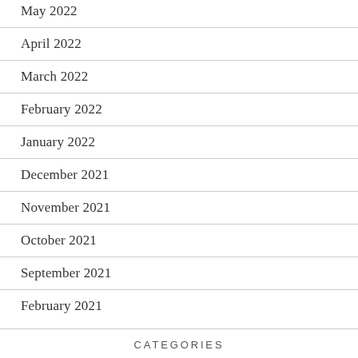May 2022
April 2022
March 2022
February 2022
January 2022
December 2021
November 2021
October 2021
September 2021
February 2021
CATEGORIES